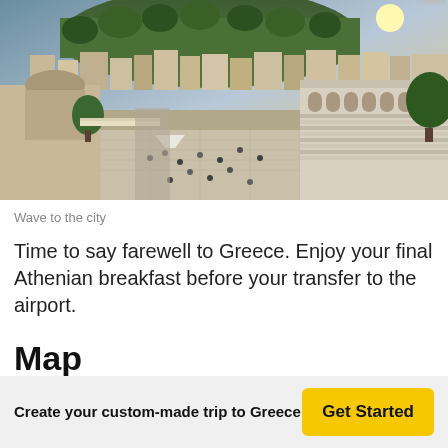[Figure (photo): Aerial view of Athens, Greece, showing a busy city square with pedestrians, traditional and modern buildings, and the Acropolis hill with trees in the background. Sunburst visible in upper right.]
Wave to the city
Time to say farewell to Greece. Enjoy your final Athenian breakfast before your transfer to the airport.
Map
Create your custom-made trip to Greece
Get Started